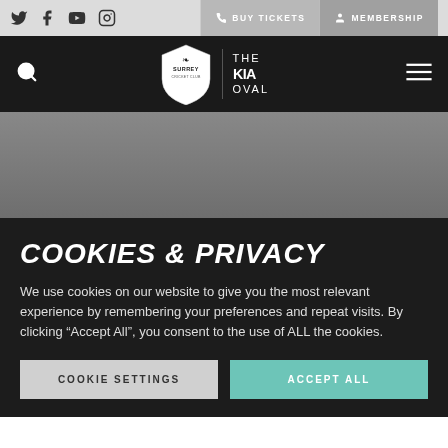Surrey Cricket Club / The Kia Oval website header with social icons (Twitter, Facebook, YouTube, Instagram), Buy Tickets, Membership, search, logo, and menu
[Figure (screenshot): Gray hero banner area below the navigation header]
COOKIES & PRIVACY
We use cookies on our website to give you the most relevant experience by remembering your preferences and repeat visits. By clicking “Accept All”, you consent to the use of ALL the cookies.
COOKIE SETTINGS
ACCEPT ALL